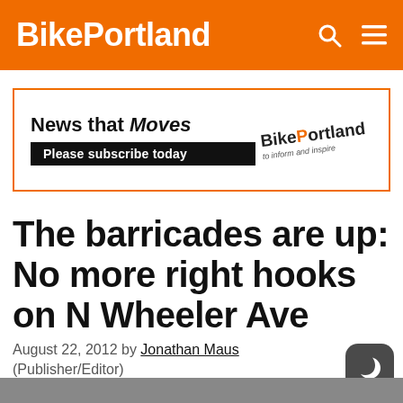BikePortland
[Figure (infographic): BikePortland advertisement banner with orange border. Text reads: News that Moves - Please subscribe today. BikePortland logo on right.]
The barricades are up: No more right hooks on N Wheeler Ave
August 22, 2012 by Jonathan Maus (Publisher/Editor)